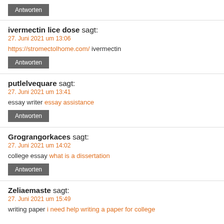Antworten
ivermectin lice dose sagt:
27. Juni 2021 um 13:06
https://stromectolhome.com/ ivermectin
Antworten
putlelvequare sagt:
27. Juni 2021 um 13:41
essay writer essay assistance
Antworten
Grograngorkaces sagt:
27. Juni 2021 um 14:02
college essay what is a dissertation
Antworten
Zeliaemaste sagt:
27. Juni 2021 um 15:49
writing paper i need help writing a paper for college